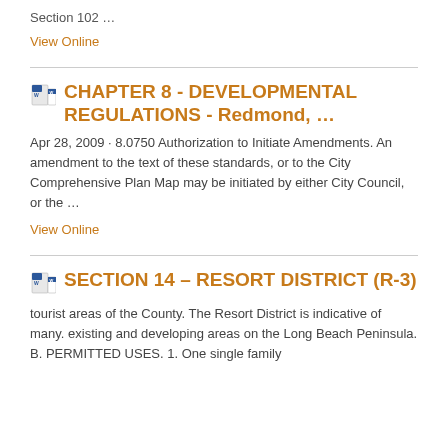Section 102 …
View Online
CHAPTER 8 - DEVELOPMENTAL REGULATIONS - Redmond, …
Apr 28, 2009 · 8.0750 Authorization to Initiate Amendments. An amendment to the text of these standards, or to the City Comprehensive Plan Map may be initiated by either City Council, or the …
View Online
SECTION 14 – RESORT DISTRICT (R-3)
tourist areas of the County. The Resort District is indicative of many. existing and developing areas on the Long Beach Peninsula. B. PERMITTED USES. 1. One single family